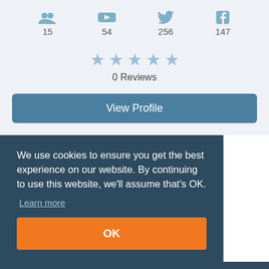[Figure (infographic): Social media stats row with icons for groups (15), YouTube (54), Twitter (256), Facebook (147)]
[Figure (infographic): 5 empty/faded stars rating display]
0 Reviews
View Profile
We use cookies to ensure you get the best experience on our website. By continuing to use this website, we'll assume that's OK.
Learn more
OK
ews
Write the first review